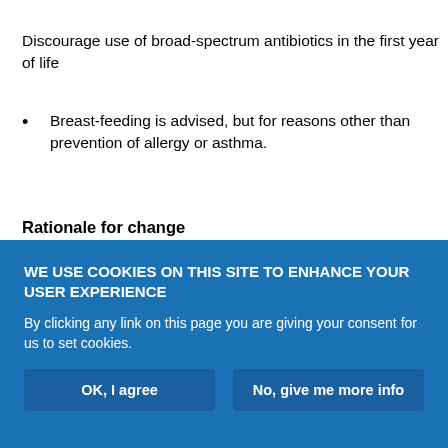Discourage use of broad-spectrum antibiotics in the first year of life
Breast-feeding is advised, but for reasons other than prevention of allergy or asthma.
Rationale for change
For clinical utility, advice about primary prevention of asthma has been separated from information about secondary prevention of symptoms in patients with an existing diagnosis of asthma. In this chapter, a summary is provided of evidence about potential factors contributing to the development of asthma, such as nutrition (breast-
WE USE COOKIES ON THIS SITE TO ENHANCE YOUR USER EXPERIENCE
By clicking any link on this page you are giving your consent for us to set cookies.